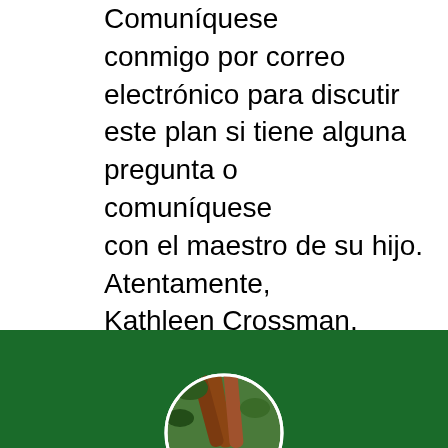Comuníquese conmigo por correo electrónico para discutir este plan si tiene alguna pregunta o comuníquese con el maestro de su hijo. Atentamente, Kathleen Crossman, Directora
[Figure (photo): Dark green footer band with a circular photo showing what appears to be cinnamon sticks against a camouflage or leaf background, partially visible at bottom of page]